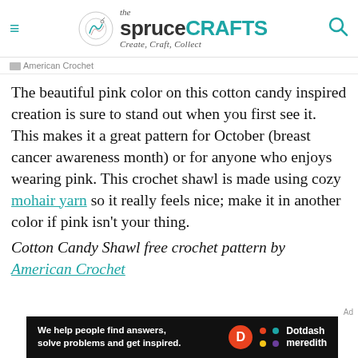the spruce CRAFTS – Create, Craft, Collect
American Crochet
The beautiful pink color on this cotton candy inspired creation is sure to stand out when you first see it. This makes it a great pattern for October (breast cancer awareness month) or for anyone who enjoys wearing pink. This crochet shawl is made using cozy mohair yarn so it really feels nice; make it in another color if pink isn't your thing.
Cotton Candy Shawl free crochet pattern by American Crochet
[Figure (other): Dotdash Meredith ad banner: 'We help people find answers, solve problems and get inspired.']